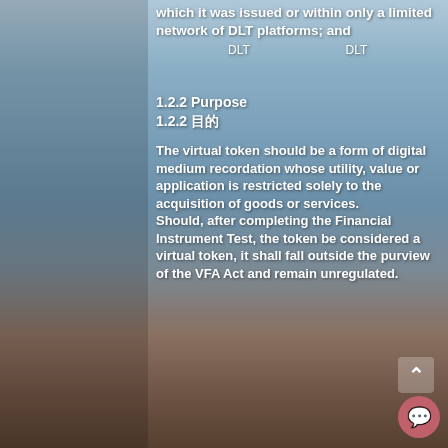which it was issued or within only a limited network of DLT platforms; and
（是在其发行的DLT平台上，或在仅限数量的DLT平台网络上使用的虚拟代币；以及
1.2.2 Purpose
1.2.2 目的
The virtual token should be a form of digital medium recordation whose utility, value or application is restricted solely to the acquisition of goods or services. Should, after completing the Financial Instrument Test, the token be considered a virtual token, it shall fall outside the purview of the VFA Act and remain unregulated.
虚拟代币应是一种数字介质记录形式，其效用、价值或应用程序仅限于获取商品或服务。 如果在完成金融工具测试后……